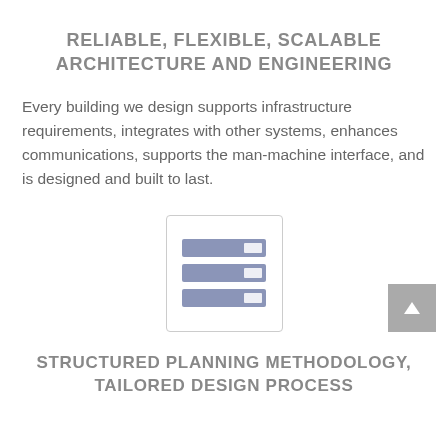RELIABLE, FLEXIBLE, SCALABLE ARCHITECTURE AND ENGINEERING
Every building we design supports infrastructure requirements, integrates with other systems, enhances communications, supports the man-machine interface, and is designed and built to last.
[Figure (illustration): Icon of a server rack with three horizontal server units shown inside a rounded rectangle box]
STRUCTURED PLANNING METHODOLOGY, TAILORED DESIGN PROCESS